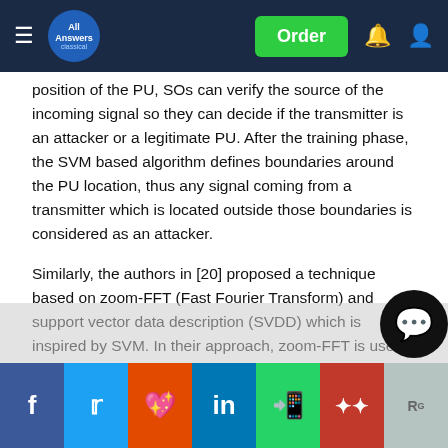All Answers Classical — navigation bar with Order button
position of the PU, SOs can verify the source of the incoming signal so they can decide if the transmitter is an attacker or a legitimate PU. After the training phase, the SVM based algorithm defines boundaries around the PU location, thus any signal coming from a transmitter which is located outside those boundaries is considered as an attacker.
Similarly, the authors in [20] proposed a technique based on zoom-FFT (Fast Fourier Transform) and support vector data description (SVDD) which is inspired by SVM. In their approach, zoom-FFT is used to estimate the accuracies of pilot and symbol rate as a radio-frequency fingerprint (RFF), then the SVDD classifier is used to construct a boundary around the PU objects, which are the RFF, to enclose the objects within a minimum sphere. Thus, SVDD can s d r o then
Social share bar: Facebook, Twitter, Reddit, LinkedIn, WhatsApp, Mendeley, ResearchGate